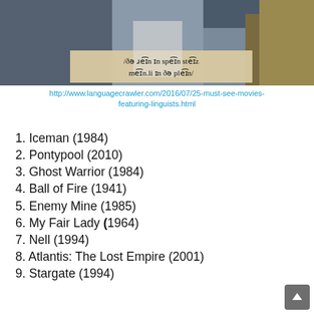[Figure (photo): Photo of a person at a podium with a linguistic phonetic transcription overlay on a beige card: /ðə ɹeɪn ɪn speɪn steɪz meɪn.li ɪn ðə pleɪn/]
http://www.languagecrawler.com/2016/07/25-must-see-movies-featuring-linguists.html
1. Iceman (1984)
2. Pontypool (2010)
3. Ghost Warrior (1984)
4. Ball of Fire (1941)
5. Enemy Mine (1985)
6. My Fair Lady (1964)
7. Nell (1994)
8. Atlantis: The Lost Empire (2001)
9. Stargate (1994)